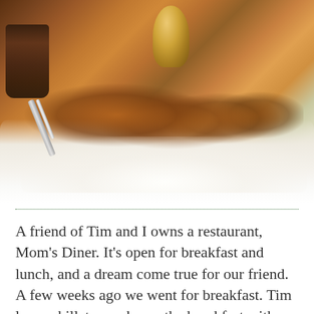[Figure (photo): A plate of golden-brown crispy French toast slices arranged on a white rectangular plate, with syrup being drizzled from a ladle above. A fork is visible on the left side, and a dark glass of drink is in the background left. The dish appears to be a breaded/battered French toast with a crunchy coating.]
A friend of Tim and I owns a restaurant, Mom's Diner. It's open for breakfast and lunch, and a dream come true for our friend. A few weeks ago we went for breakfast. Tim loves skillets,you know the breakfast with everything. I on the other